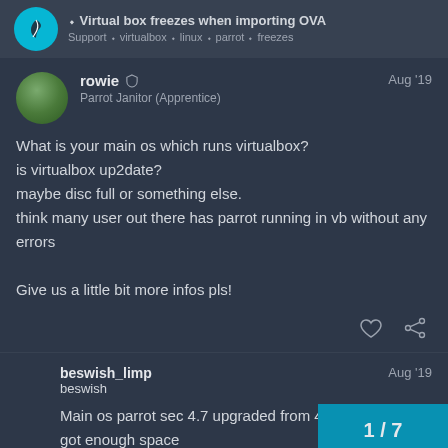Virtual box freezes when importing OVA
rowie
Parrot Janitor (Apprentice)
Aug '19
What is your main os which runs virtualbox?
is virtualbox up2date?
maybe disc full or something else.
think many user out there has parrot running in vb without any errors

Give us a little bit more infos pls!
beswish_limp
beswish
Aug '19
Main os parrot sec 4.7 upgraded from 4.6
got enough space